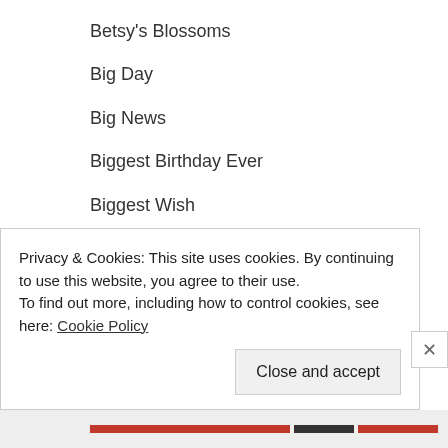Betsy's Blossoms
Big Day
Big News
Biggest Birthday Ever
Biggest Wish
Bike Ride
Birthday Banners
Birthday Blooms
Birthday Cake
Birthday Candle (partial)
Privacy & Cookies: This site uses cookies. By continuing to use this website, you agree to their use.
To find out more, including how to control cookies, see here: Cookie Policy
Close and accept